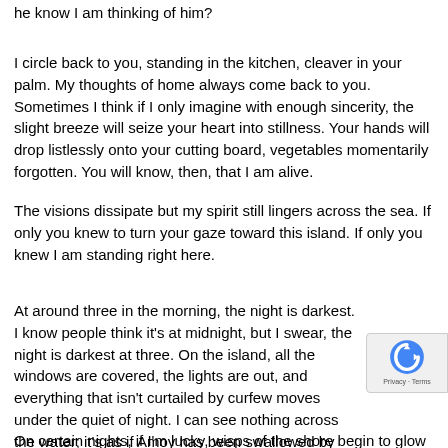he know I am thinking of him?
I circle back to you, standing in the kitchen, cleaver in your palm. My thoughts of home always come back to you. Sometimes I think if I only imagine with enough sincerity, the slight breeze will seize your heart into stillness. Your hands will drop listlessly onto your cutting board, vegetables momentarily forgotten. You will know, then, that I am alive.
The visions dissipate but my spirit still lingers across the sea. If only you knew to turn your gaze toward this island. If only you knew I am standing right here.
At around three in the morning, the night is darkest. I know people think it's at midnight, but I swear, the night is darkest at three. On the island, all the windows are covered, the lights are out, and everything that isn't curtailed by curfew moves under the quiet of night. I can see nothing across the water; it's as if Amoy has been swallowed by the ocean.
On certain nights, if I'm lucky, wisps of the shore begin to glow blue